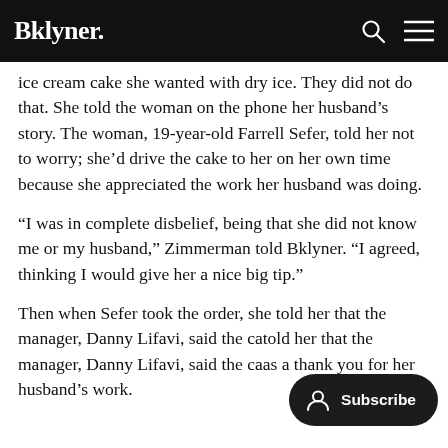Bklyner.
ice cream cake she wanted with dry ice. They did not do that. She told the woman on the phone her husband's story. The woman, 19-year-old Farrell Sefer, told her not to worry; she'd drive the cake to her on her own time because she appreciated the work her husband was doing.
“I was in complete disbelief, being that she did not know me or my husband,” Zimmerman told Bklyner. “I agreed, thinking I would give her a nice big tip.”
Then when Sefer took the order, she told her that the manager, Danny Lifavi, said the ca… as a thank you for her husband's work.